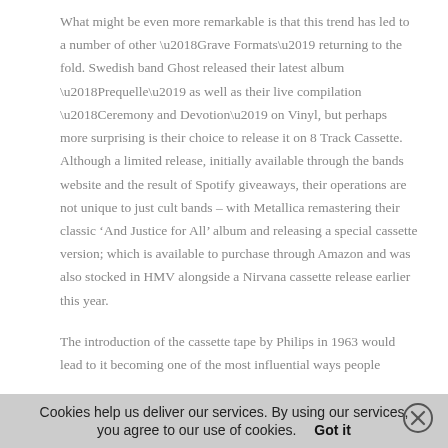What might be even more remarkable is that this trend has led to a number of other ‘Grave Formats’ returning to the fold. Swedish band Ghost released their latest album ‘Prequelle’ as well as their live compilation ‘Ceremony and Devotion’ on Vinyl, but perhaps more surprising is their choice to release it on 8 Track Cassette. Although a limited release, initially available through the bands website and the result of Spotify giveaways, their operations are not unique to just cult bands – with Metallica remastering their classic ‘And Justice for All’ album and releasing a special cassette version; which is available to purchase through Amazon and was also stocked in HMV alongside a Nirvana cassette release earlier this year.
The introduction of the cassette tape by Philips in 1963 would lead to it becoming one of the most influential ways people
Cookies help us deliver our services. By using our services, you agree to our use of cookies.    Got it